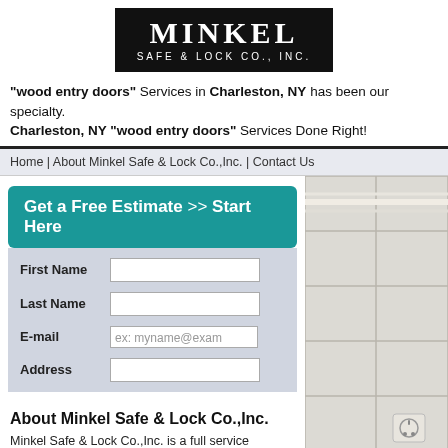[Figure (logo): Minkel Safe & Lock Co., Inc. logo — white text on black background]
"wood entry doors" Services in Charleston, NY has been our specialty. Charleston, NY "wood entry doors" Services Done Right!
Home | About Minkel Safe & Lock Co.,Inc. | Contact Us
Get a Free Estimate >> Start Here
First Name
Last Name
E-mail
Address
[Figure (photo): White ceramic wall tiles with a white electrical outlet/socket in the lower right area]
About Minkel Safe & Lock Co.,Inc.
Minkel Safe & Lock Co.,Inc. is a full service security and locksmith center providing you with wood entry doors services within the Charleston, NY area. We off a broader range of wood entry doors services in the Charleston, NY area and are happy to answer any questions you may have